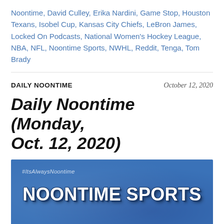Noontime, David Culley, Erika Nardini, Game Stop, Houston Texans, Isobel Cup, Kansas City Chiefs, LeBron James, Locked On Podcasts, National Women's Hockey League, NBA, NFL, Noontime Sports, NWHL, Reddit, Tenga, Tom Brady
DAILY NOONTIME — October 12, 2020
Daily Noontime (Monday, Oct. 12, 2020)
[Figure (illustration): Blue textured banner image with '#ItsAlwaysNoontime' hashtag at top left, large bold white text 'NOONTIME SPORTS' in the center, and 'OCT. 12, 2020' in white italic bold text at the bottom right.]